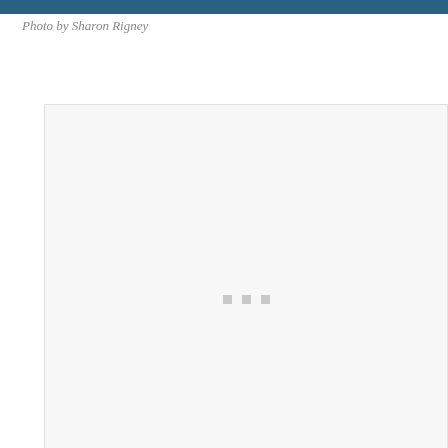[Figure (photo): Narrow horizontal strip of a dark teal/blue photo at the top of the page]
Photo by Sharon Rigney
[Figure (photo): Large light gray placeholder box with three small gray loading dots centered within it]